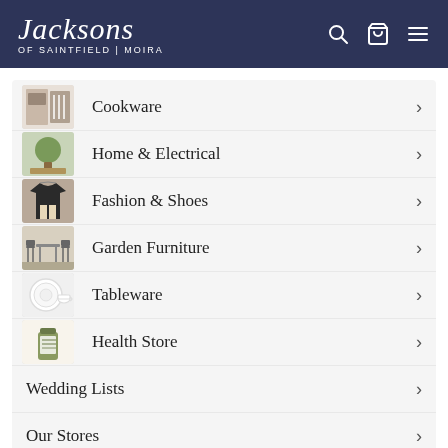Jacksons of Saintfield | Moira
Cookware
Home & Electrical
Fashion & Shoes
Garden Furniture
Tableware
Health Store
Wedding Lists
Our Stores